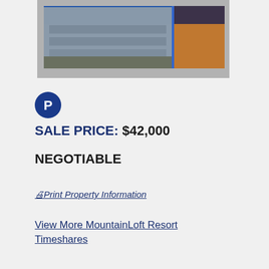[Figure (photo): Photo of a multi-story hotel/resort building with parking lot in front and mountains in background; a second smaller image shows an orange/brown interior scene]
[Figure (logo): Blue circular logo with white 'P' letter inside]
SALE PRICE: $42,000
NEGOTIABLE
Print Property Information
View More MountainLoft Resort Timeshares